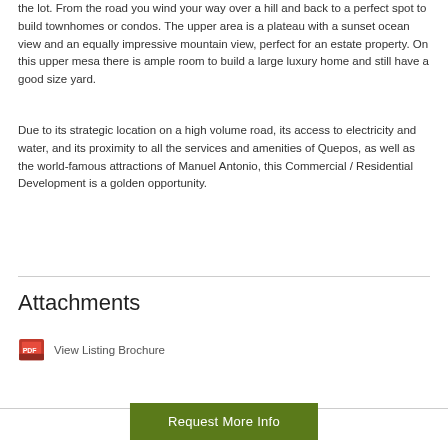the lot. From the road you wind your way over a hill and back to a perfect spot to build townhomes or condos. The upper area is a plateau with a sunset ocean view and an equally impressive mountain view, perfect for an estate property. On this upper mesa there is ample room to build a large luxury home and still have a good size yard.
Due to its strategic location on a high volume road, its access to electricity and water, and its proximity to all the services and amenities of Quepos, as well as the world-famous attractions of Manuel Antonio, this Commercial / Residential Development is a golden opportunity.
Attachments
View Listing Brochure